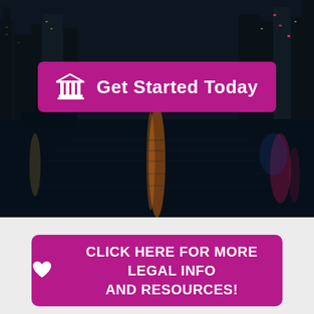[Figure (photo): Night cityscape with reflections of city lights on dark water, tall buildings in background]
Get Started Today
CLICK HERE FOR MORE LEGAL INFO AND RESOURCES!